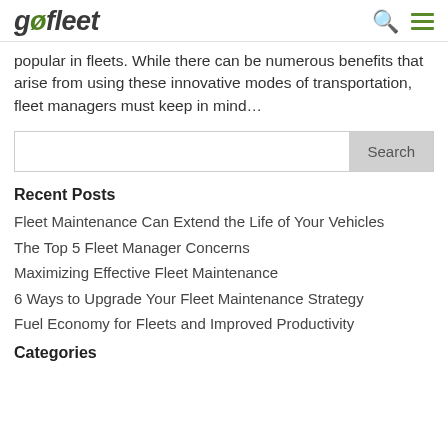gofleet
popular in fleets. While there can be numerous benefits that arise from using these innovative modes of transportation, fleet managers must keep in mind…
Search
Recent Posts
Fleet Maintenance Can Extend the Life of Your Vehicles
The Top 5 Fleet Manager Concerns
Maximizing Effective Fleet Maintenance
6 Ways to Upgrade Your Fleet Maintenance Strategy
Fuel Economy for Fleets and Improved Productivity
Categories